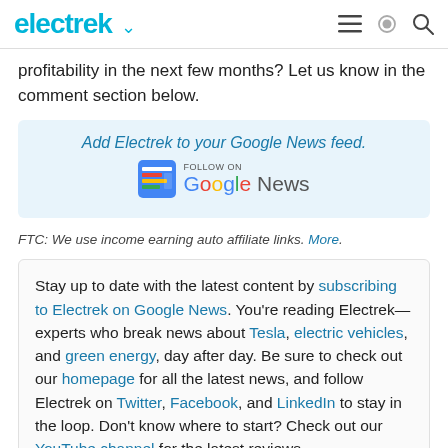electrek
profitability in the next few months? Let us know in the comment section below.
[Figure (infographic): Add Electrek to your Google News feed. Follow on Google News badge.]
FTC: We use income earning auto affiliate links. More.
Stay up to date with the latest content by subscribing to Electrek on Google News. You're reading Electrek—experts who break news about Tesla, electric vehicles, and green energy, day after day. Be sure to check out our homepage for all the latest news, and follow Electrek on Twitter, Facebook, and LinkedIn to stay in the loop. Don't know where to start? Check out our YouTube channel for the latest reviews.